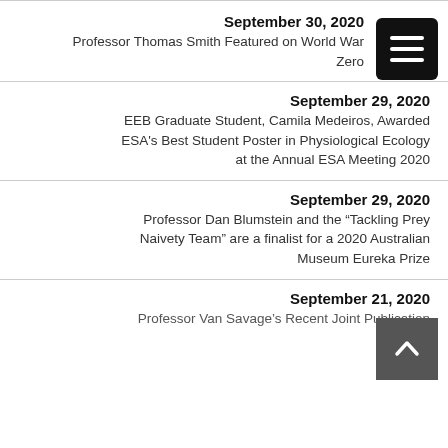September 30, 2020
Professor Thomas Smith Featured on World War Zero
September 29, 2020
EEB Graduate Student, Camila Medeiros, Awarded ESA's Best Student Poster in Physiological Ecology at the Annual ESA Meeting 2020
September 29, 2020
Professor Dan Blumstein and the “Tackling Prey Naivety Team” are a finalist for a 2020 Australian Museum Eureka Prize
September 21, 2020
Professor Van Savage's Recent Joint Publication